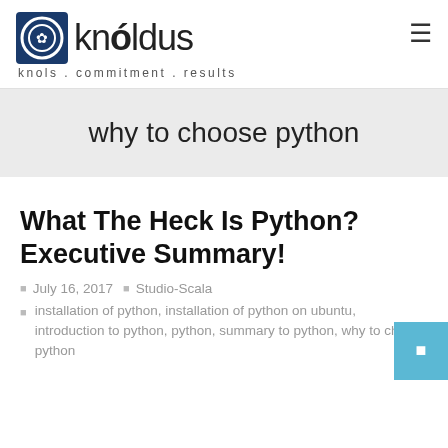[Figure (logo): Knoldus logo with maple leaf icon and text 'knóldus', tagline 'knols . commitment . results']
why to choose python
What The Heck Is Python? Executive Summary!
July 16, 2017  Studio-Scala
installation of python, installation of python on ubuntu, introduction to python, python, summary to python, why to choose python